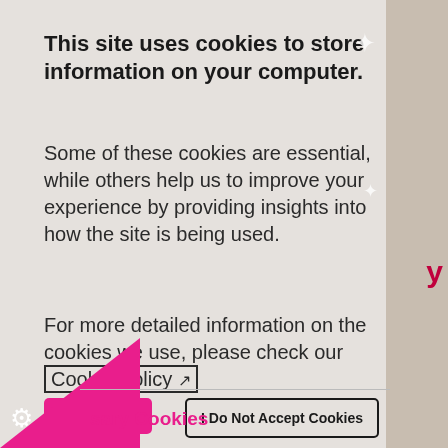This site uses cookies to store information on your computer.
Some of these cookies are essential, while others help us to improve your experience by providing insights into how the site is being used.
For more detailed information on the cookies we use, please check our Cookie Policy
I accept all
I Do Not Accept Cookies
sary Cookies